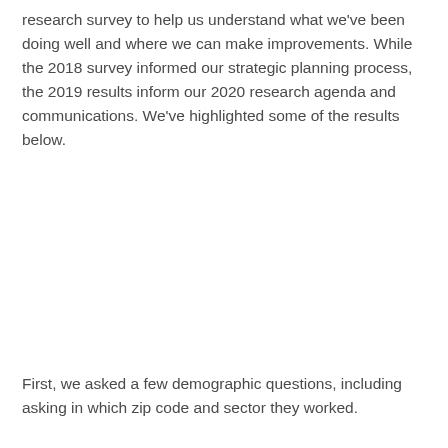research survey to help us understand what we've been doing well and where we can make improvements. While the 2018 survey informed our strategic planning process, the 2019 results inform our 2020 research agenda and communications. We've highlighted some of the results below.
First, we asked a few demographic questions, including asking in which zip code and sector they worked.